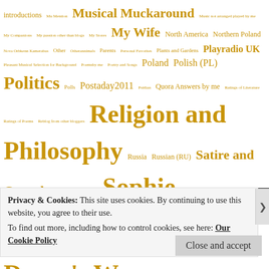[Figure (infographic): Tag cloud of blog/website categories in gold/amber color, with varying font sizes representing frequency/importance. Tags include: introductions, Mu Mention, Musical Muckaround, Music not arranged played by me, My Companions, My passion other than blogs, My Stores, My Wife, North America, Northern Poland, Nova Orbkenn Kamerabas, Other, Otherannimals, Parents, Personal Favorites, Plants and Gardens, Playradio UK, Pleasant Musical Selection for Background, Poemsby me, Poetry and Songs, Poland, Polish (PL), Politics, Polls, Postaday2011, Psudien, Quora Answers by me, Ratings of Literature, Ratings of Poems, Reblog from other bloggers, Religion and Philosophy, Russia, Russian (RU), Satire and Comedy, Shortfilms, Slovakia, Sophie, Sarah Alves, Southern Poland, Spain and the Spanish Speaking World, SpanishRU, Tanya, The Psalms of Davey My forms, Tommy Steyn, Troedland Hem, Turkey, TurkishTR, Ukraine, Uncle Davey's Natural Selection, Uncle Davey's Warsaw, Video From Other Channels, Viktor Huliganov, Wildplaces, With Another Person, Work related, Zoo]
Privacy & Cookies: This site uses cookies. By continuing to use this website, you agree to their use. To find out more, including how to control cookies, see here: Our Cookie Policy
Close and accept